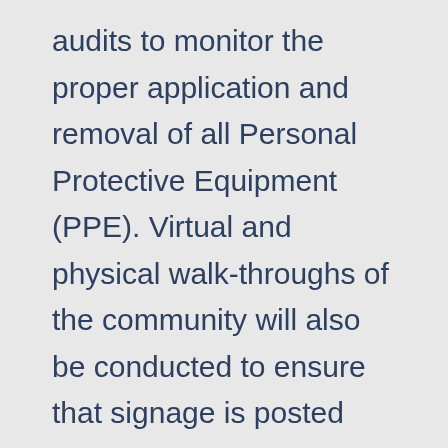audits to monitor the proper application and removal of all Personal Protective Equipment (PPE). Virtual and physical walk-throughs of the community will also be conducted to ensure that signage is posted appropriately, masks are being worn and physical distancing guidelines are being followed.  We also employ Berry College students in our community. Educating this younger age group on proper behavior during this time is paramount to the health and